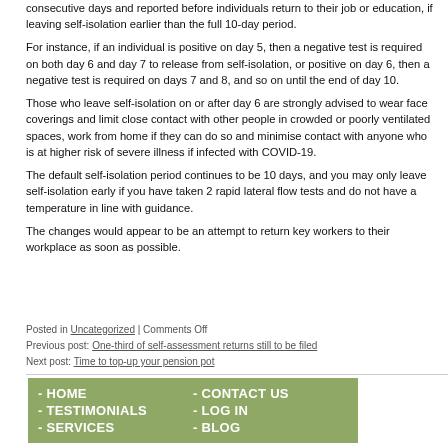consecutive days and reported before individuals return to their job or education, if leaving self-isolation earlier than the full 10-day period.
For instance, if an individual is positive on day 5, then a negative test is required on both day 6 and day 7 to release from self-isolation, or positive on day 6, then a negative test is required on days 7 and 8, and so on until the end of day 10.
Those who leave self-isolation on or after day 6 are strongly advised to wear face coverings and limit close contact with other people in crowded or poorly ventilated spaces, work from home if they can do so and minimise contact with anyone who is at higher risk of severe illness if infected with COVID-19.
The default self-isolation period continues to be 10 days, and you may only leave self-isolation early if you have taken 2 rapid lateral flow tests and do not have a temperature in line with guidance.
The changes would appear to be an attempt to return key workers to their workplace as soon as possible.
Posted in Uncategorized | Comments Off
Previous post: One-third of self-assessment returns still to be filed
Next post: Time to top-up your pension pot
- HOME
- CONTACT US
- TESTIMONIALS
- LOG IN
- SERVICES
- BLOG